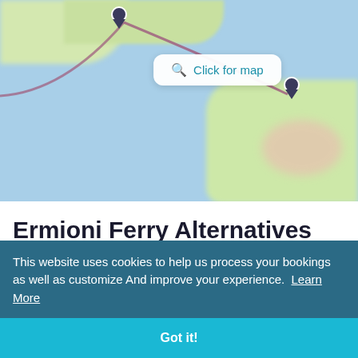[Figure (map): Blurred map showing a sea route between two locations (marked with dark map pins), with land masses at top-left and right side, water in blue, and a 'Click for map' button overlay in the center.]
Ermioni Ferry Alternatives
This website uses cookies to help us process your bookings as well as customize And improve your experience.  Learn More
Got it!